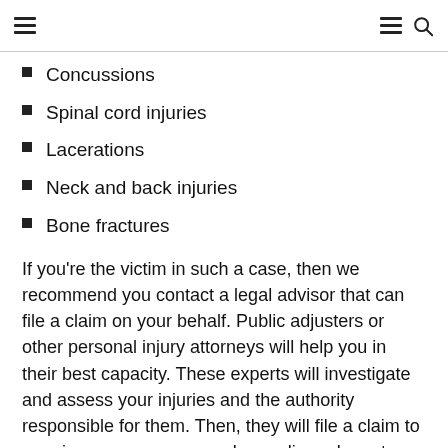[navigation bar with hamburger menus and search icon]
Concussions
Spinal cord injuries
Lacerations
Neck and back injuries
Bone fractures
If you're the victim in such a case, then we recommend you contact a legal advisor that can file a claim on your behalf. Public adjusters or other personal injury attorneys will help you in their best capacity. These experts will investigate and assess your injuries and the authority responsible for them. Then, they will file a claim to your insurance company, demanding adequate compensation.